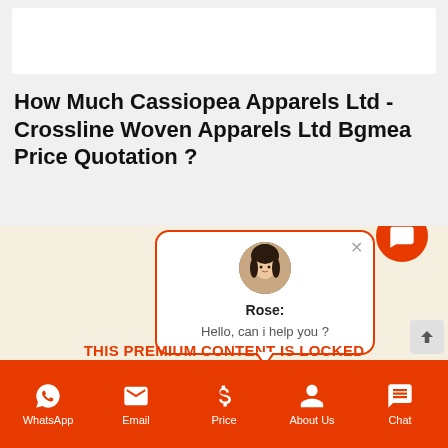[Figure (screenshot): White header bar at top of webpage]
How Much Cassiopea Apparels Ltd - Crossline Woven Apparels Ltd Bgmea Price Quotation ?
[Figure (screenshot): A webpage content area showing locked premium content with a chat popup from 'Rose' saying 'Hello, can i help you ?' and a red overlay text 'THIS PREMIUM CONTENT IS LOCKED' with 'STEP 1: Share to a social network' below]
WhatsApp  Email  Price  About Us  Chat